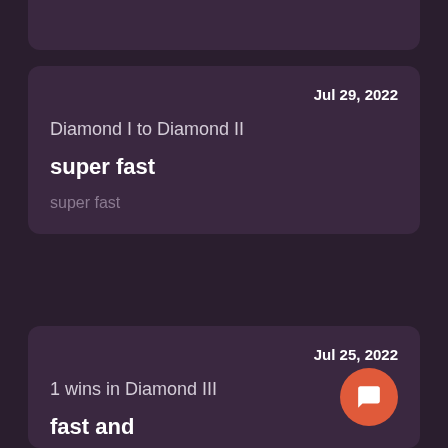Jul 29, 2022
Diamond I to Diamond II
super fast
super fast
Jul 25, 2022
1 wins in Diamond III
fast and